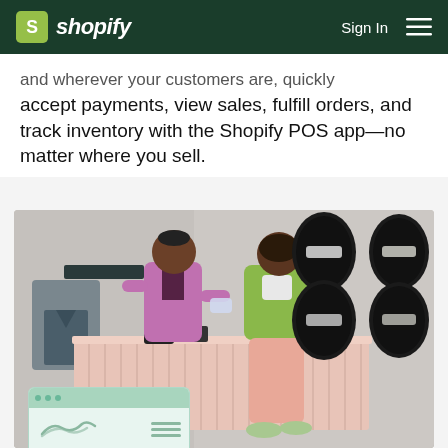shopify — Sign In
and wherever your customers are, quickly accept payments, view sales, fulfill orders, and track inventory with the Shopify POS app—no matter where you sell.
[Figure (photo): Retail store scene showing two people at a pink fluted counter — a store associate in a purple shirt handing a tablet to a customer in a green hoodie and pink pants. Behind them are oval display niches with sneakers on the right wall and a denim jacket on the left. A Shopify POS app interface appears overlaid at the bottom left of the image.]